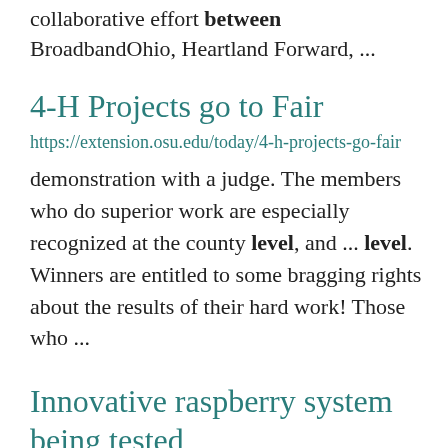collaborative effort between BroadbandOhio, Heartland Forward, ...
4-H Projects go to Fair
https://extension.osu.edu/today/4-h-projects-go-fair
demonstration with a judge. The members who do superior work are especially recognized at the county level, and ... level. Winners are entitled to some bragging rights about the results of their hard work! Those who ...
Innovative raspberry system being tested